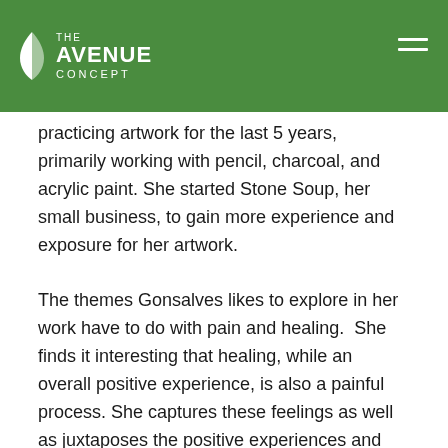THE AVENUE CONCEPT
practicing artwork for the last 5 years, primarily working with pencil, charcoal, and acrylic paint. She started Stone Soup, her small business, to gain more experience and exposure for her artwork.
The themes Gonsalves likes to explore in her work have to do with pain and healing.  She finds it interesting that healing, while an overall positive experience, is also a painful process. She captures these feelings as well as juxtaposes the positive experiences and feelings surrounding healing and growing with the reality of a painful transformation. Gonsalves emphasizes these conflicting emotions further through contrast between beauty and simultaneous grotesqueness in the specific imagery and colors used.